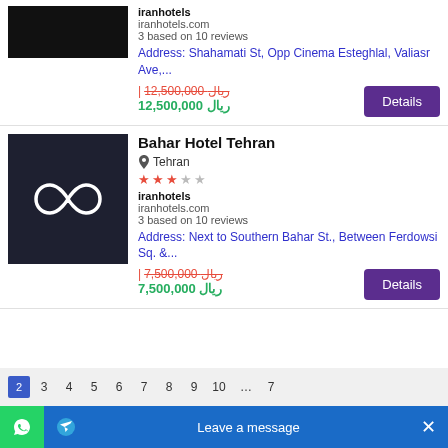[Figure (screenshot): Partial hotel image (top of page, dark/black background)]
iranhotels
iranhotels.com
3 based on 10 reviews
Address: Shahamati St, Opp Cinema Esteghlal, Valiasr Ave,...
| 12,500,000 ﷼ (strikethrough)
﷼ 12,500,000
Details
Bahar Hotel Tehran
Tehran
★★★☆☆
iranhotels
iranhotels.com
3 based on 10 reviews
Address: Next to Southern Bahar St., Between Ferdowsi Sq. &...
| 7,500,000 ﷼ (strikethrough)
﷼ 7,500,000
Details
1 2 3 4 5 6 7 8 9 10  Leave a message ✕